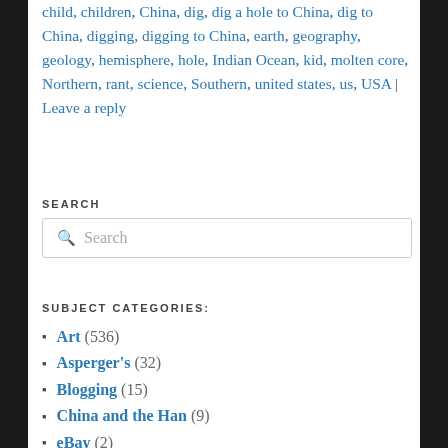child, children, China, dig, dig a hole to China, dig to China, digging, digging to China, earth, geography, geology, hemisphere, hole, Indian Ocean, kid, molten core, Northern, rant, science, Southern, united states, us, USA | Leave a reply
SEARCH
SUBJECT CATEGORIES:
Art (536)
Asperger's (32)
Blogging (15)
China and the Han (9)
eBay (2)
Education (96)
Fiction (30)
Geography (30)
History (41)
Humor (68)